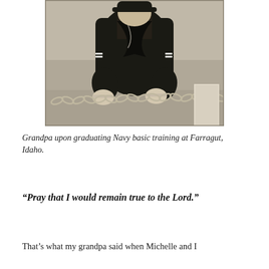[Figure (photo): Black and white photograph of a young man in a dark Navy uniform, leaning forward with both hands gripping a heavy chain. He appears to be at a railing or dock area. A white post/pillar is visible on the right side.]
Grandpa upon graduating Navy basic training at Farragut, Idaho.
“Pray that I would remain true to the Lord.”
That’s what my grandpa said when Michelle and I